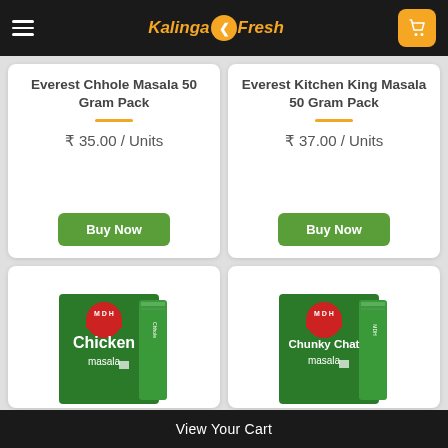[Figure (screenshot): KalingaFresh app header with hamburger menu, logo, and cart icon]
Everest Chhole Masala 50 Gram Pack
₹ 35.00 / Units
Buy Now
Everest Kitchen King Masala 50 Gram Pack
₹ 37.00 / Units
Buy Now
[Figure (photo): MDH Chicken Masala product box]
[Figure (photo): MDH Chunky Chat Masala product box]
View Your Cart